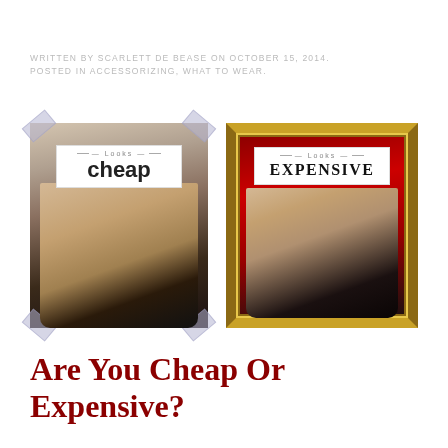WRITTEN BY SCARLETT DE BEASE ON OCTOBER 15, 2014. POSTED IN ACCESSORIZING, WHAT TO WEAR.
[Figure (photo): Two side-by-side photos of women's shoes. Left photo (taped, casual look): black ballet flats on a person's feet, labeled 'Looks cheap'. Right photo (gold ornate frame, elegant look): black pointed-toe heels with ankle strap on red carpet, labeled 'Looks EXPENSIVE'.]
Are You Cheap Or Expensive?